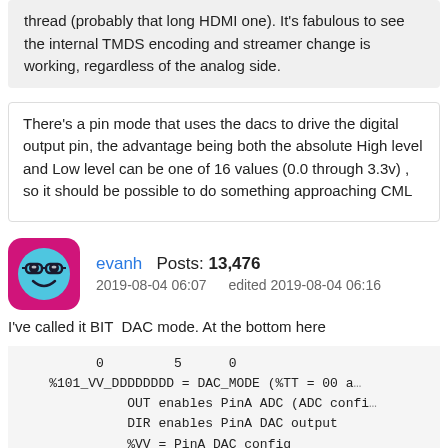thread (probably that long HDMI one). It's fabulous to see the internal TMDS encoding and streamer change is working, regardless of the analog side.
There's a pin mode that uses the dacs to drive the digital output pin, the advantage being both the absolute High level and Low level can be one of 16 values (0.0 through 3.3v) , so it should be possible to do something approaching CML
evanh   Posts: 13,476
2019-08-04 06:07   edited 2019-08-04 06:16
I've called it BIT  DAC mode. At the bottom here
0         5      0
    %101_VV_DDDDDDDD = DAC_MODE (%TT = 00 a
              OUT enables PinA ADC (ADC confi
              DIR enables PinA DAC output
              %VV = PinA DAC config
                        00: 990 ohm, 3.3 volt r
                        01: 600 ohm, 2.0 volt r